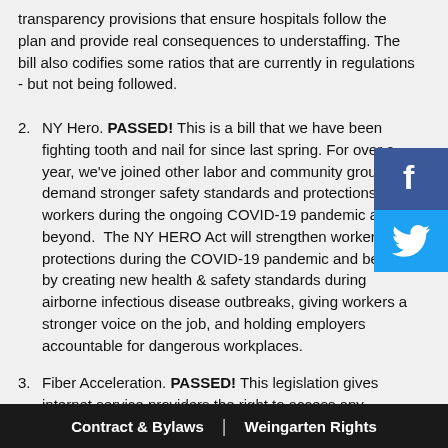transparency provisions that ensure hospitals follow the plan and provide real consequences to understaffing. The bill also codifies some ratios that are currently in regulations - but not being followed.
2. NY Hero. PASSED! This is a bill that we have been fighting tooth and nail for since last spring. For over a year, we've joined other labor and community groups to demand stronger safety standards and protections for workers during the ongoing COVID-19 pandemic and beyond. The NY HERO Act will strengthen worker protections during the COVID-19 pandemic and beyond by creating new health & safety standards during airborne infectious disease outbreaks, giving workers a stronger voice on the job, and holding employers accountable for dangerous workplaces.
3. Fiber Acceleration. PASSED! This legislation gives internet service providers the right to access any building where there is or was telephone service for the purpose of upgrading the copper to fiber in order to deploy broadband service to New Yorkers, and to ensure competitive choice of broadband providers among tenements.
Contract & Bylaws | Weingarten Rights